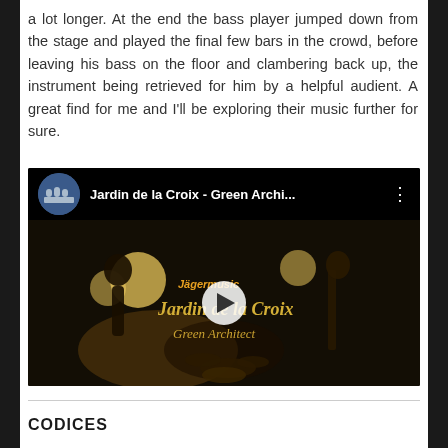a lot longer. At the end the bass player jumped down from the stage and played the final few bars in the crowd, before leaving his bass on the floor and clambering back up, the instrument being retrieved for him by a helpful audient. A great find for me and I'll be exploring their music further for sure.
[Figure (screenshot): Embedded YouTube video thumbnail showing a band performing on a dark stage with bright lights. The video title bar shows 'Jardin de la Croix - Green Archi...' with a circular band photo avatar and three-dot menu icon. The video frame shows band members playing instruments in a dark venue with text overlays reading 'Jägermusic', 'Jardin de la Croix', and 'Green Architect'. A play button is visible in the center.]
CODICES